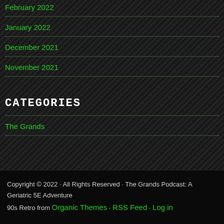February 2022
January 2022
December 2021
November 2021
CATEGORIES
The Grands
Copyright © 2022 · All Rights Reserved · The Grands Podcast: A Geriatric 5E Adventure
90s Retro from Organic Themes · RSS Feed · Log in